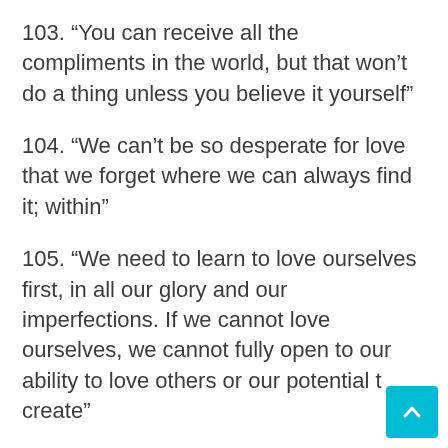103. “You can receive all the compliments in the world, but that won’t do a thing unless you believe it yourself”
104. “We can’t be so desperate for love that we forget where we can always find it; within”
105. “We need to learn to love ourselves first, in all our glory and our imperfections. If we cannot love ourselves, we cannot fully open to our ability to love others or our potential to create”